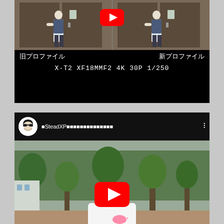[Figure (screenshot): YouTube video card showing side-by-side comparison labeled 旧プロファイル (old profile) and 新プロファイル (new profile), with text X-T2 XF18MMF2 4K 30P 1/250 on black background]
[Figure (screenshot): YouTube video card with channel avatar, channel name ISteadXP followed by Japanese characters, and video thumbnail showing a toddler from behind in a park with YouTube play button overlay]